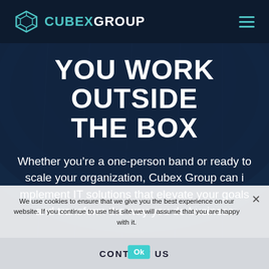CUBEXGROUP
YOU WORK OUTSIDE THE BOX
Whether you’re a one-person band or ready to scale your organization, Cubex Group can i mplement IT solutions that elevate your goals and transform the way you do business
We use cookies to ensure that we give you the best experience on our website. If you continue to use this site we will assume that you are happy with it.
Ok
CONTACT US